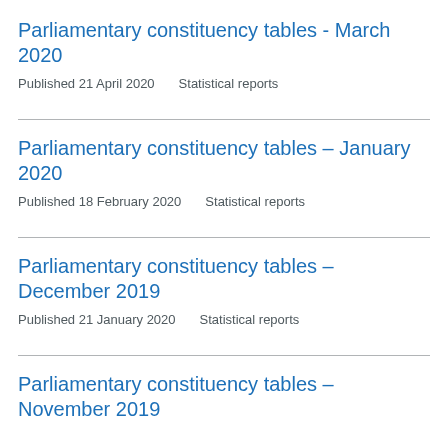Parliamentary constituency tables - March 2020
Published 21 April 2020    Statistical reports
Parliamentary constituency tables – January 2020
Published 18 February 2020    Statistical reports
Parliamentary constituency tables – December 2019
Published 21 January 2020    Statistical reports
Parliamentary constituency tables – November 2019